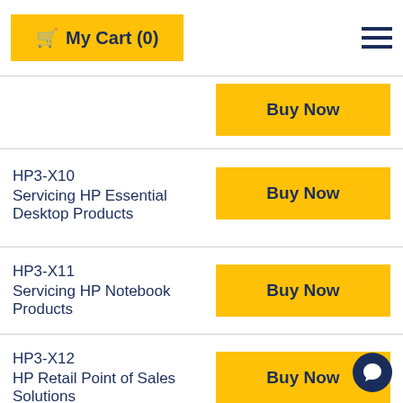My Cart (0)
Buy Now (partial row)
HP3-X10
Servicing HP Essential Desktop Products
HP3-X11
Servicing HP Notebook Products
HP3-X12
HP Retail Point of Sales Solutions
HP5-B02D